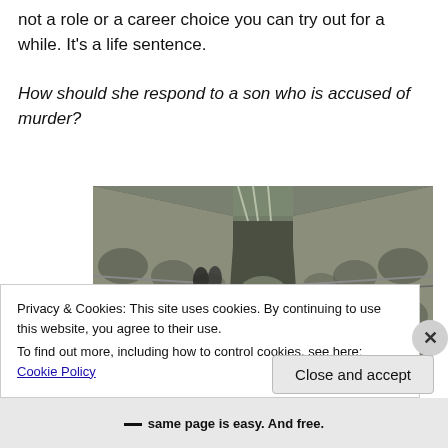not a role or a career choice you can try out for a while. It's a life sentence.
How should she respond to a son who is accused of murder?
[Figure (photo): Interior view of a prison corridor showing multiple levels of cell blocks with arched architecture, metal railings and walkways receding into a vanishing point perspective.]
Privacy & Cookies: This site uses cookies. By continuing to use this website, you agree to their use.
To find out more, including how to control cookies, see here: Cookie Policy
same page is easy. And free.